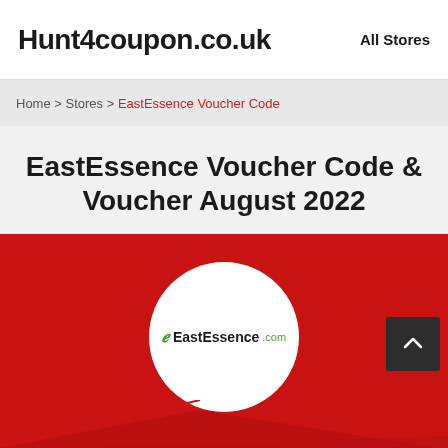Hunt4coupon.co.uk | All Stores
Home > Stores > EastEssence Voucher Code
EastEssence Voucher Code & Voucher August 2022
[Figure (logo): EastEssence.com store logo — white circle on red background with green 'E' icon and EastEssence.com text, partial diagonal banner at bottom]